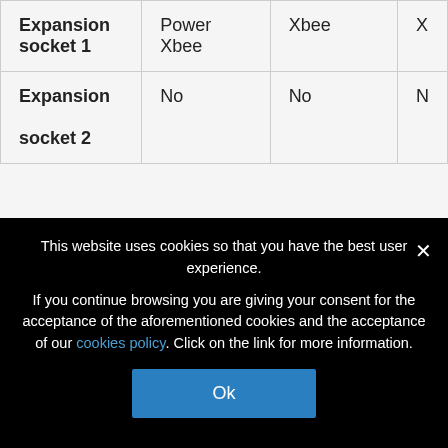| Expansion socket 1 | Power Xbee | Xbee | X |
| Expansion socket 2 | No | No | N |
Environmental:
This website uses cookies so that you have the best user experience. If you continue browsing you are giving your consent for the acceptance of the aforementioned cookies and the acceptance of our cookies policy. Click on the link for more information.